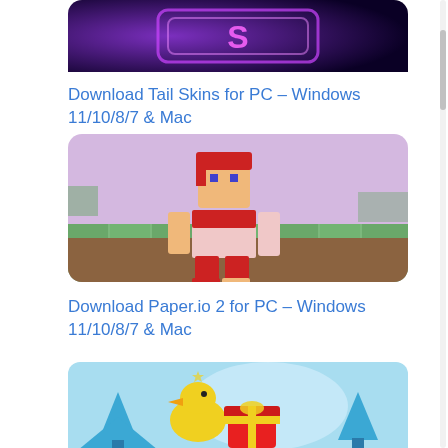[Figure (screenshot): Top portion of an app icon with purple/dark blue gradient background and neon styling, partially cropped at the top]
Download Tail Skins for PC – Windows 11/10/8/7 & Mac
[Figure (screenshot): Minecraft-style character skin showing a girl with red hair, red and white outfit, standing in a Minecraft world with grass and dirt blocks in the background]
Download Paper.io 2 for PC – Windows 11/10/8/7 & Mac
[Figure (screenshot): Paper.io 2 game app icon showing colorful 3D holiday-themed objects: yellow duck, gift boxes with ribbons, blue Christmas trees, on a light blue background]